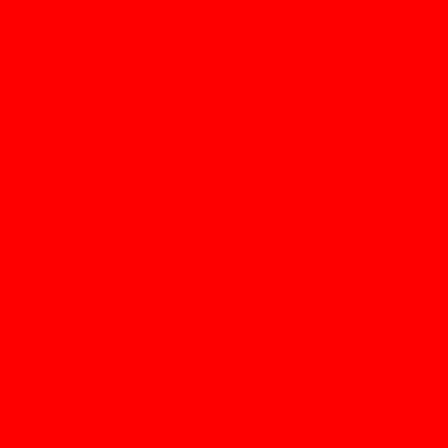name a... enough... a caball...
Gnarly: Amazing...
Goofy: You are normally... foot on f...
Grab: Using e... anywhere... the air.
Grind: Any var... hanger(... grind(s)... obstacle...
Griptape: A sandp... strong g... put on t... grip and...
Grommet / Grom: Little kic...
Gyrate: see Pur...
Half Cab: The na... 180.
Halfpipe /: A ramp...